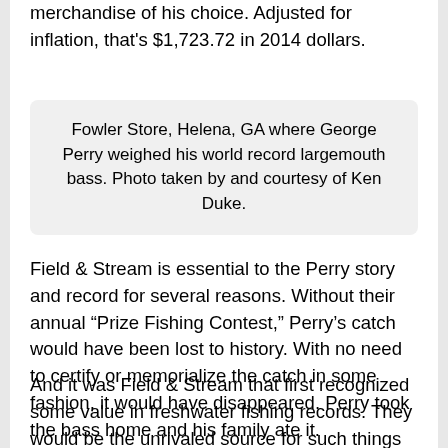merchandise of his choice. Adjusted for inflation, that's $1,723.72 in 2014 dollars.
Fowler Store, Helena, GA where George Perry weighed his world record largemouth bass. Photo taken by and courtesy of Ken Duke.
Field & Stream is essential to the Perry story and record for several reasons. Without their annual “Prize Fishing Contest,” Perry’s catch would have been lost to history. With no need to certify or memorialize the catch in some fashion, it would have disappeared. Perry took the bass home and his family ate it.
And it was Field & Stream that first recognized some value in freshwater fishing records. They would be the unrivaled source for such things until they turned over their files and the responsibility for